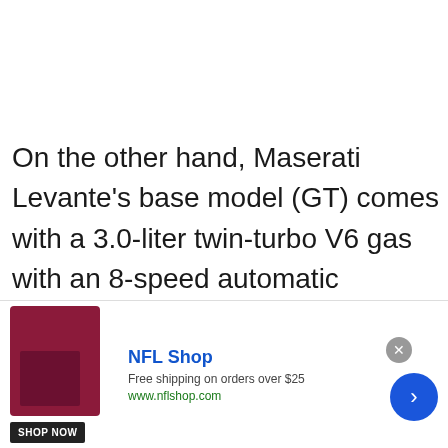On the other hand, Maserati Levante's base model (GT) comes with a 3.0-liter twin-turbo V6 gas with an 8-speed automatic
[Figure (other): Advertisement banner for NFL Shop showing a dark red/burgundy product image, NFL Shop brand name in blue, text 'Free shipping on orders over $25', URL 'www.nflshop.com', a 'SHOP NOW' button, a close button, and a blue arrow button on the right.]